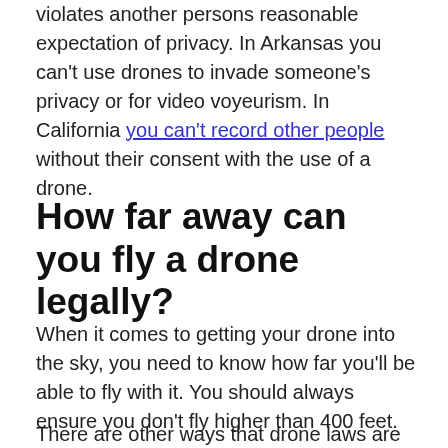violates another persons reasonable expectation of privacy. In Arkansas you can't use drones to invade someone's privacy or for video voyeurism. In California you can't record other people without their consent with the use of a drone.
How far away can you fly a drone legally?
When it comes to getting your drone into the sky, you need to know how far you'll be able to fly with it. You should always ensure you don't fly higher than 400 feet.
There are other ways that drone laws are involved...